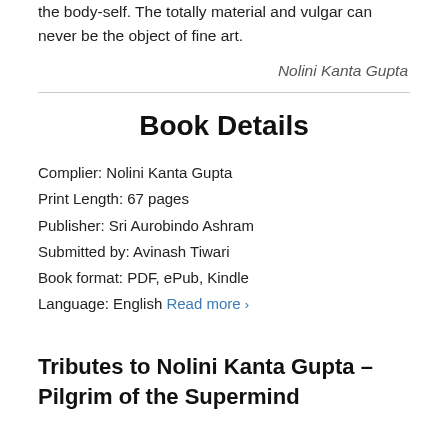the body-self. The totally material and vulgar can never be the object of fine art.
Nolini Kanta Gupta
Book Details
Complier: Nolini Kanta Gupta
Print Length: 67 pages
Publisher: Sri Aurobindo Ashram
Submitted by: Avinash Tiwari
Book format: PDF, ePub, Kindle
Language: English Read more ›
Tributes to Nolini Kanta Gupta – Pilgrim of the Supermind